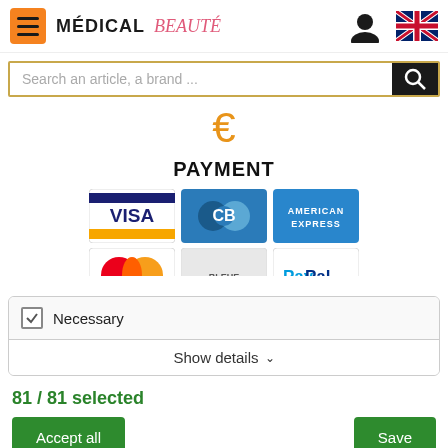[Figure (logo): Medical Beaute logo with hamburger menu icon on orange background, user icon, and UK flag]
[Figure (screenshot): Search bar with gold border and black search button]
[Figure (infographic): Orange euro sign symbol]
PAYMENT
[Figure (infographic): Payment method logos: Visa, CB, American Express in top row; Mastercard, Caisse Bleue, PayPal partially visible in bottom row]
[Figure (screenshot): Cookie consent widget with Necessary checkbox checked and Show details dropdown]
81 / 81  selected
Accept all
Save